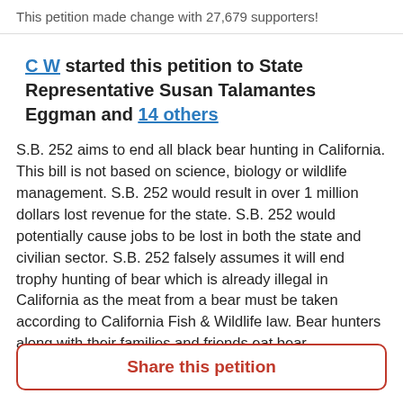This petition made change with 27,679 supporters!
C W started this petition to State Representative Susan Talamantes Eggman and 14 others
S.B. 252 aims to end all black bear hunting in California.  This bill is not based on science, biology or wildlife management.  S.B. 252 would result in over 1 million dollars lost revenue for the state. S.B. 252 would potentially cause jobs to be lost in both the state and civilian sector.  S.B. 252 falsely assumes it will end trophy hunting of bear which is already illegal in California as the meat from a bear must be taken according to California Fish & Wildlife law. Bear hunters along with their families and friends eat bear
Share this petition